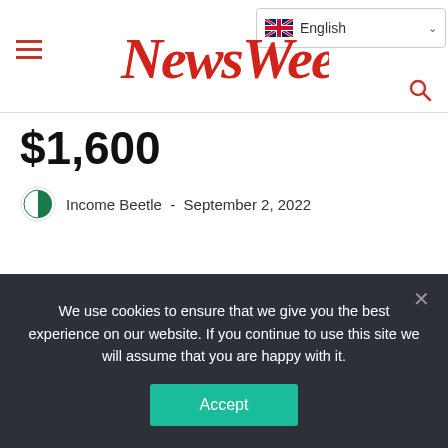NewsWeek
$1,600
Income Beetle - September 2, 2022
We use cookies to ensure that we give you the best experience on our website. If you continue to use this site we will assume that you are happy with it.